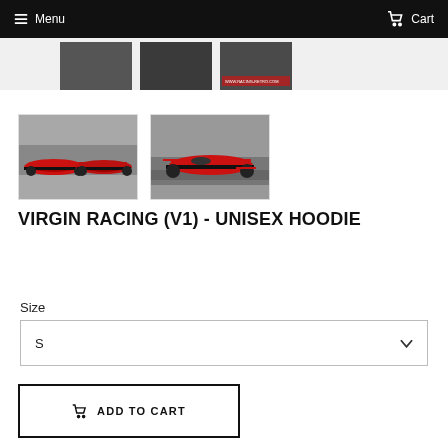Menu  Cart
[Figure (photo): Thumbnail images of Virgin Racing F1 car from multiple angles - top partial row]
[Figure (photo): Two thumbnail photos of Virgin Racing F1 car - red and black formula one car on track]
VIRGIN RACING (V1) - UNISEX HOODIE
Size
S
ADD TO CART